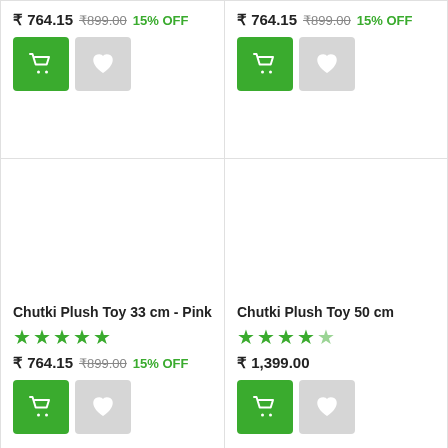₹ 764.15 ₹899.00 15% OFF
₹ 764.15 ₹899.00 15% OFF
[Figure (photo): Product image area for Chutki Plush Toy 33 cm - Pink]
Chutki Plush Toy 33 cm - Pink
★★★★★
₹ 764.15 ₹899.00 15% OFF
[Figure (photo): Product image area for Chutki Plush Toy 50 cm]
Chutki Plush Toy 50 cm
★★★★★
₹ 1,399.00